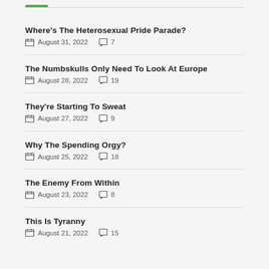Where's The Heterosexual Pride Parade? — August 31, 2022 — 7 comments
The Numbskulls Only Need To Look At Europe — August 28, 2022 — 19 comments
They're Starting To Sweat — August 27, 2022 — 9 comments
Why The Spending Orgy? — August 25, 2022 — 18 comments
The Enemy From Within — August 23, 2022 — 8 comments
This Is Tyranny — August 21, 2022 — 15 comments